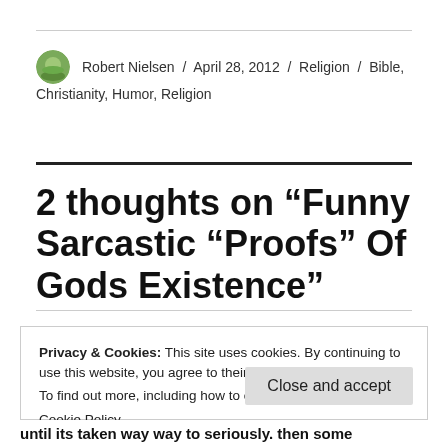Robert Nielsen / April 28, 2012 / Religion / Bible, Christianity, Humor, Religion
2 thoughts on “Funny Sarcastic “Proofs” Of Gods Existence”
Privacy & Cookies: This site uses cookies. By continuing to use this website, you agree to their use.
To find out more, including how to control cookies, see here: Cookie Policy
until its taken way way to seriously. then some